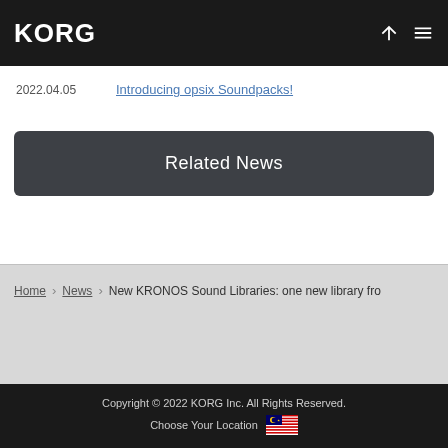KORG
2022.04.05   Introducing opsix Soundpacks!
Related News
Home > News > New KRONOS Sound Libraries: one new library fro...
Copyright © 2022 KORG Inc. All Rights Reserved.
Choose Your Location